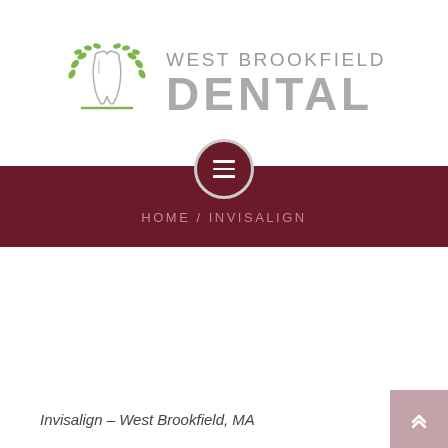[Figure (logo): West Brookfield Dental logo — stylized tooth with green tree branches on either side, silver/grey tooth shape in center, with text 'WEST BROOKFIELD DENTAL' to the right]
[Figure (other): Dark maroon navigation bar with hamburger menu button (three horizontal lines in dark maroon circle) at top center, containing breadcrumb navigation text 'HOME / INVISALIGN']
HOME / INVISALIGN
Invisalign – West Brookfield, MA